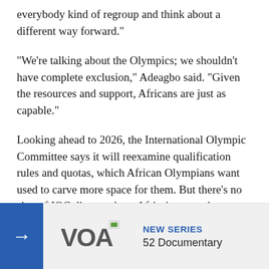everybody kind of regroup and think about a different way forward."
"We're talking about the Olympics; we shouldn't have complete exclusion," Adeagbo said. "Given the resources and support, Africans are just as capable."
Looking ahead to 2026, the International Olympic Committee says it will reexamine qualification rules and quotas, which African Olympians want used to carve more space for them. But there's no sign of IOC dismay about Africa's retreat in Beijing.
"There are five continents represented here," said James Macleod, head of an IOC sponsorship program that helped fund athletes on their Beijing journey.
The IOC gave i... Europe, with 2...
[Figure (logo): VOA (Voice of America) logo with NEW SERIES label and 52 Documentary text on a light gray banner with blue arrow button]